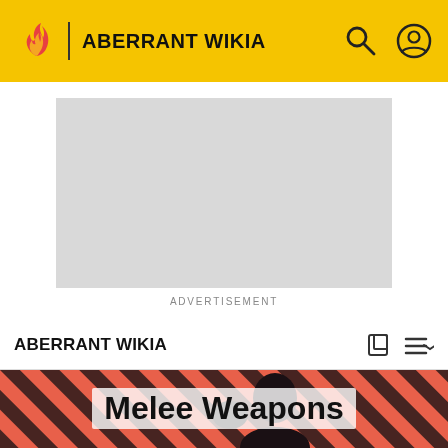ABERRANT WIKIA
[Figure (other): Advertisement placeholder - gray rectangle]
ADVERTISEMENT
ABERRANT WIKIA
Melee Weapons
[Figure (photo): Dark-haired person against diagonal red and black striped background]